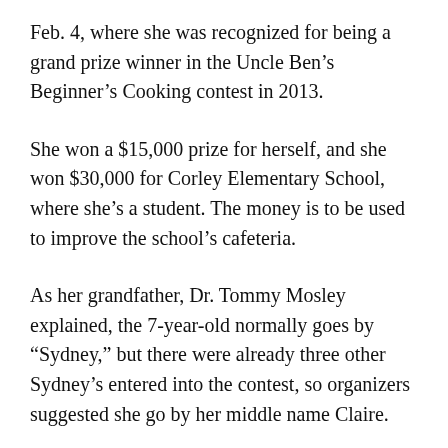Feb. 4, where she was recognized for being a grand prize winner in the Uncle Ben's Beginner's Cooking contest in 2013.
She won a $15,000 prize for herself, and she won $30,000 for Corley Elementary School, where she's a student. The money is to be used to improve the school's cafeteria.
As her grandfather, Dr. Tommy Mosley explained, the 7-year-old normally goes by “Sydney,” but there were already three other Sydney’s entered into the contest, so organizers suggested she go by her middle name Claire.
“That’s her stage name,” he joked.